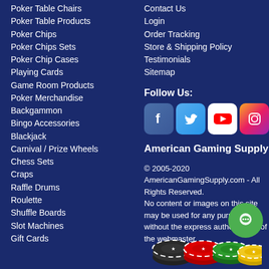Poker Table Chairs
Poker Table Products
Poker Chips
Poker Chips Sets
Poker Chip Cases
Playing Cards
Game Room Products
Poker Merchandise
Backgammon
Bingo Accessories
Blackjack
Carnival / Prize Wheels
Chess Sets
Craps
Raffle Drums
Roulette
Shuffle Boards
Slot Machines
Gift Cards
Contact Us
Login
Order Tracking
Store & Shipping Policy
Testimonials
Sitemap
Follow Us:
[Figure (logo): Social media icons: Facebook, Twitter, YouTube, Instagram]
American Gaming Supply
© 2005-2020 AmericanGamingSupply.com - All Rights Reserved. No content or images on this site may be used for any purposes without the express authorization of the webmaster.
[Figure (illustration): Poker chips stacked together in black, red, green, and yellow colors with decorative face designs]